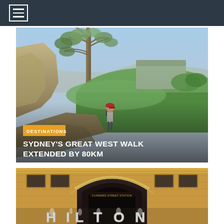[Figure (screenshot): Website header with dark navy background and hamburger menu icon (three horizontal lines in a white rectangle border)]
[Figure (photo): A hiker with a red cap and backpack standing on a rocky cliff overlooking a vast green valley with mountains and blue sky. Category tag 'DESTINATIONS' in orange and title 'SYDNEY'S GREAT WEST WALK EXTENDED BY 80KM' in white overlaid at bottom.]
SYDNEY'S GREAT WEST WALK EXTENDED BY 80KM
[Figure (photo): Flinders Street Station building in Melbourne with ornate golden/tan facade and large arch. People in foreground holding silver balloon letters spelling HILTON.]